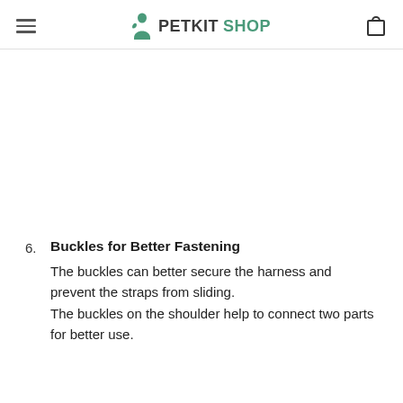PETKITSHOP
6. Buckles for Better Fastening
The buckles can better secure the harness and prevent the straps from sliding.
The buckles on the shoulder help to connect two parts for better use.